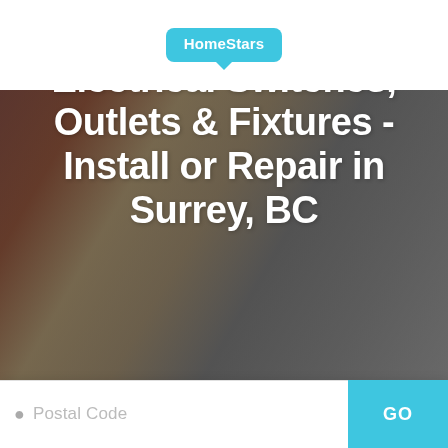[Figure (logo): HomeStars logo badge in cyan/teal color with speech bubble style]
[Figure (photo): Background photo of electrical tools, wires, and blueprint plans with dark overlay]
Electrical Switches, Outlets & Fixtures - Install or Repair in Surrey, BC
Postal Code
GO